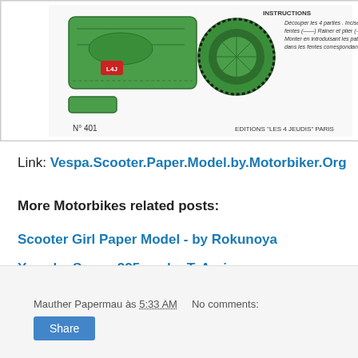[Figure (illustration): Vespa scooter paper model cutout sheet with assembly instructions in French. Shows green scooter parts flat layout with N° 401 label and Editions Les 4 Jeudis Paris branding.]
Link: Vespa.Scooter.Paper.Model.by.Motorbiker.Org
More Motorbikes related posts:
Scooter Girl Paper Model - by Rokunoya
Yamaha Serow 225cc - by T. Arai
Gas Gas Trial Motorbike - by Toni Mauricio - Moto de Trial Gas Gas
Mauther Papermau às 5:33 AM   No comments:   Share